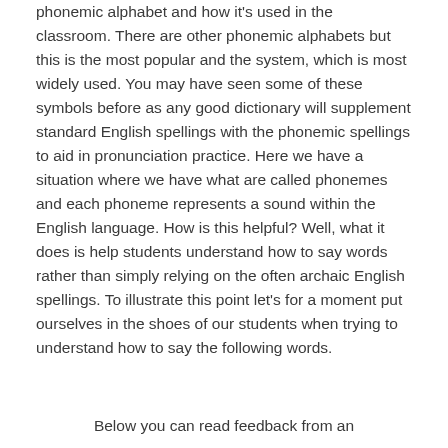phonemic alphabet and how it's used in the classroom. There are other phonemic alphabets but this is the most popular and the system, which is most widely used. You may have seen some of these symbols before as any good dictionary will supplement standard English spellings with the phonemic spellings to aid in pronunciation practice. Here we have a situation where we have what are called phonemes and each phoneme represents a sound within the English language. How is this helpful? Well, what it does is help students understand how to say words rather than simply relying on the often archaic English spellings. To illustrate this point let's for a moment put ourselves in the shoes of our students when trying to understand how to say the following words.
Below you can read feedback from an